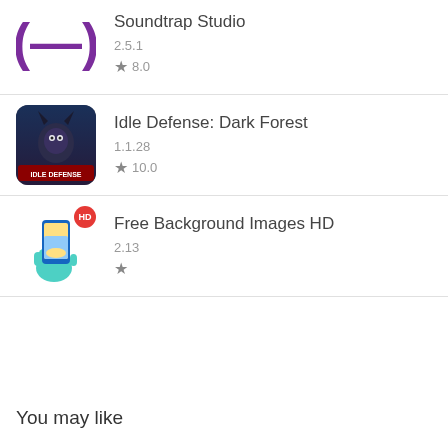Soundtrap Studio
2.5.1
★ 8.0
Idle Defense: Dark Forest
1.1.28
★ 10.0
Free Background Images HD
2.13
★
You may like